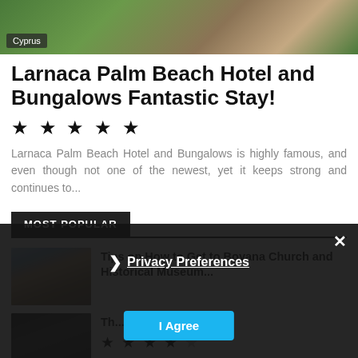[Figure (photo): Aerial/landscape photo of Cyprus with palm trees and rocky terrain]
Cyprus
Larnaca Palm Beach Hotel and Bungalows Fantastic Stay!
★ ★ ★ ★ ★
Larnaca Palm Beach Hotel and Bungalows is highly famous, and even though not one of the newest, yet it keeps strong and continues to...
MOST POPULAR
[Figure (photo): Photo of Boyana Church covered in snow, historical building]
Tips on How to Get to Boyana Church and Historical Museum...
[Figure (photo): Dark photo of a second popular item]
Th... ★ ★ ★ ★ ☆
Privacy Preferences
I Agree